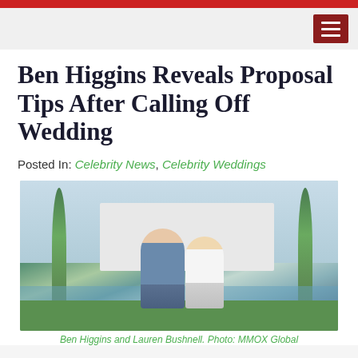Ben Higgins Reveals Proposal Tips After Calling Off Wedding
Posted In: Celebrity News, Celebrity Weddings
[Figure (photo): Ben Higgins and Lauren Bushnell posing together outdoors in front of a white tropical resort building with palm trees and a pool area in the background.]
Ben Higgins and Lauren Bushnell. Photo: MMOX Global